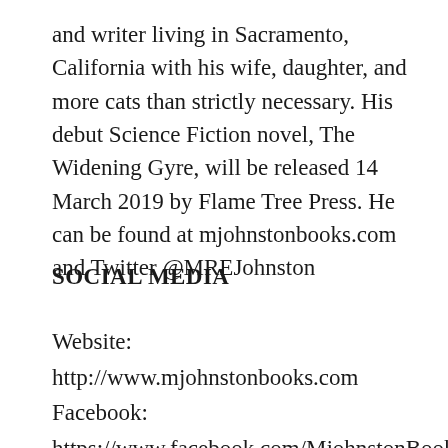and writer living in Sacramento, California with his wife, daughter, and more cats than strictly necessary. His debut Science Fiction novel, The Widening Gyre, will be released 14 March 2019 by Flame Tree Press. He can be found at mjohnstonbooks.com and Twitter @MREJohnston
SOCIAL MEDIA
Website: http://www.mjohnstonbooks.com
Facebook:
https://www.facebook.com/MjohnstonBooks/